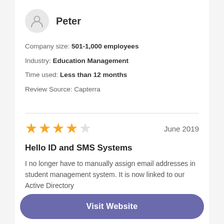Peter
Company size: 501-1,000 employees
Industry: Education Management
Time used: Less than 12 months
Review Source: Capterra
★★★★☆  June 2019
Hello ID and SMS Systems
I no longer have to manually assign email addresses in student management system. It is now linked to our Active Directory
Visit Website